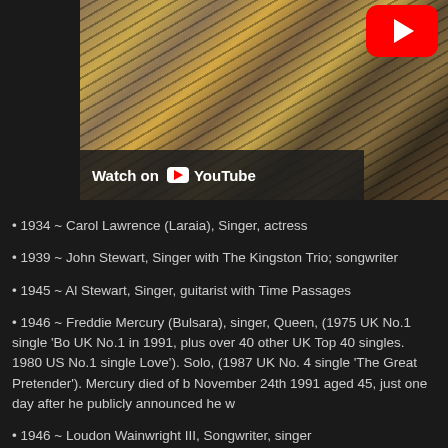[Figure (screenshot): YouTube video thumbnail showing piano strings/harp interior, with a red YouTube play button in top right and a 'Watch on YouTube' bar at bottom left]
• 1934 ~ Carol Lawrence (Laraia), Singer, actress
• 1939 ~ John Stewart, Singer with The Kingston Trio; songwriter
• 1945 ~ Al Stewart, Singer, guitarist with Time Passages
• 1946 ~ Freddie Mercury (Bulsara), singer, Queen, (1975 UK No.1 single 'Bo UK No.1 in 1991, plus over 40 other UK Top 40 singles. 1980 US No.1 single Love'). Solo, (1987 UK No. 4 single 'The Great Pretender'). Mercury died of b November 24th 1991 aged 45, just one day after he publicly announced he w
• 1946 ~ Loudon Wainwright III, Songwriter, singer
• 1956 ~ Johnny Cash hit the record running with I Walk the Line. Cash's deb on the pop music charts.